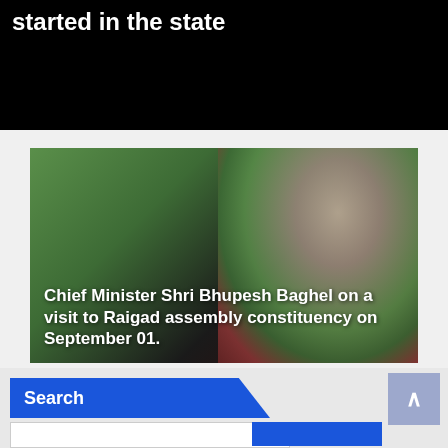started in the state
[Figure (photo): Photo of Chief Minister Shri Bhupesh Baghel with text overlay on a green/dark background]
Chief Minister Shri Bhupesh Baghel on a visit to Raigad assembly constituency on September 01.
Search